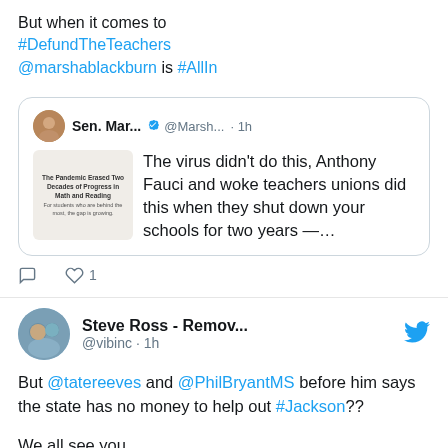But when it comes to #DefundTheTeachers @marshablackburn is #AllIn
[Figure (screenshot): Quoted tweet from Sen. Mar... @Marsh... 1h with image attachment. Text: The virus didn't do this, Anthony Fauci and woke teachers unions did this when they shut down your schools for two years —...]
But @tatereeves and @PhilBryantMS before him says the state has no money to help out #Jackson??

We all see you.
Steve Ross - Remov... @vibinc · 1h